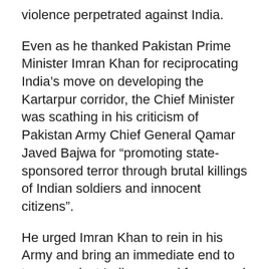violence perpetrated against India.
Even as he thanked Pakistan Prime Minister Imran Khan for reciprocating India’s move on developing the Kartarpur corridor, the Chief Minister was scathing in his criticism of Pakistan Army Chief General Qamar Javed Bajwa for “promoting state-sponsored terror through brutal killings of Indian soldiers and innocent citizens”.
He urged Imran Khan to rein in his Army and bring an immediate end to terror against Indian armed forces and citizens, “or else be ready to face a strong reaction from India, which has a bigger army than the neighbouring country”.